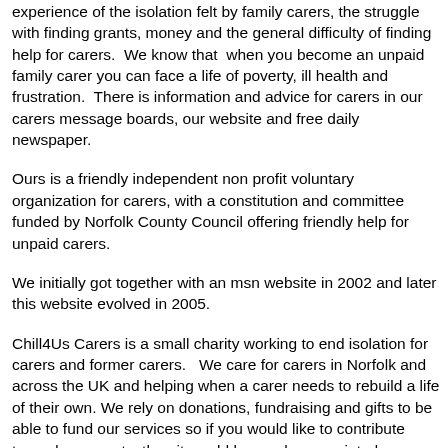chat with carers and finding help when the caring ends.  We are a peer support group offering carer resources and have experience of the isolation felt by family carers, the struggle with finding grants, money and the general difficulty of finding help for carers.  We know that  when you become an unpaid family carer you can face a life of poverty, ill health and frustration.  There is information and advice for carers in our carers message boards, our website and free daily newspaper.
Ours is a friendly independent non profit voluntary organization for carers, with a constitution and committee funded by Norfolk County Council offering friendly help for unpaid carers.
We initially got together with an msn website in 2002 and later this website evolved in 2005.
Chill4Us Carers is a small charity working to end isolation for carers and former carers.   We care for carers in Norfolk and across the UK and helping when a carer needs to rebuild a life of their own. We rely on donations, fundraising and gifts to be able to fund our services so if you would like to contribute towards our costs, then it would be much appreciated so we are able to continue to run Chill4us as the family for carers that our members tell us it is.